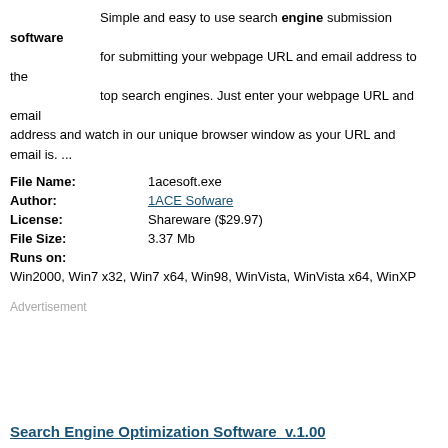Simple and easy to use search engine submission software for submitting your webpage URL and email address to the top search engines. Just enter your webpage URL and email address and watch in our unique browser window as your URL and email is. ...
| File Name: | 1acesoft.exe |
| Author: | 1ACE Sofware |
| License: | Shareware ($29.97) |
| File Size: | 3.37 Mb |
| Runs on: | Win2000, Win7 x32, Win7 x64, Win98, WinVista, WinVista x64, WinXP |
Advertisement
Search Engine Optimization Software  v.1.00